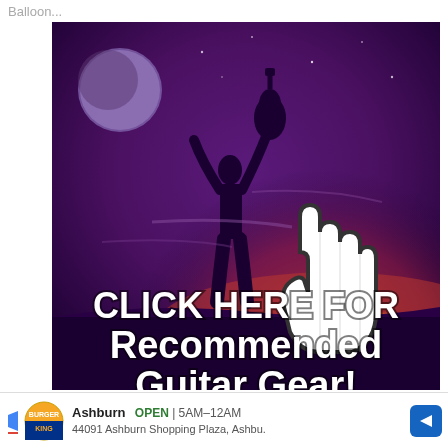Balloon...
[Figure (illustration): Purple and red sunset/night sky background with silhouette of person holding guitar overhead, a large moon top-left, and a large white hand cursor icon pointing left in the center-right area. Text overlay reads: CLICK HERE FOR Recommended Guitar Gear!]
Ashburn  OPEN | 5AM–12AM  44091 Ashburn Shopping Plaza, Ashbu.